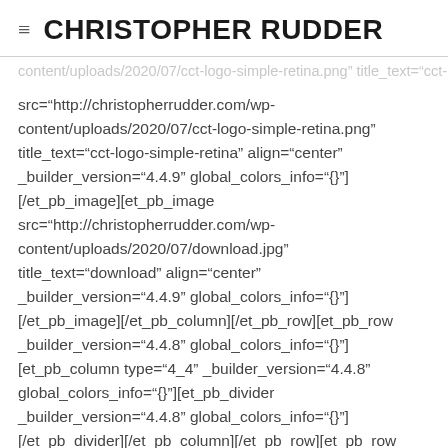CHRISTOPHER RUDDER
src="http://christopherrudder.com/wp-content/uploads/2020/07/cct-logo-simple-retina.png" title_text="cct-logo-simple-retina" align="center" _builder_version="4.4.9" global_colors_info="{}"] [/et_pb_image][et_pb_image src="http://christopherrudder.com/wp-content/uploads/2020/07/download.jpg" title_text="download" align="center" _builder_version="4.4.9" global_colors_info="{}"] [/et_pb_image][/et_pb_column][/et_pb_row][et_pb_row _builder_version="4.4.8" global_colors_info="{}"] [et_pb_column type="4_4" _builder_version="4.4.8" global_colors_info="{}"][et_pb_divider _builder_version="4.4.8" global_colors_info="{}"] [/et_pb_divider][/et_pb_column][/et_pb_row][et_pb_row